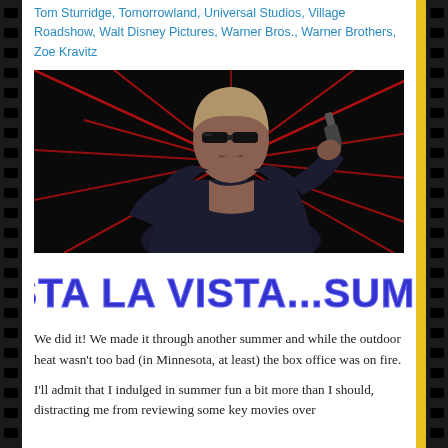Tom Sturridge, Tomorrowland, Universal Studios, Village Roadshow, Walt Disney Pictures, Warner Bros., Warner Brothers, Zoe Kravitz
[Figure (photo): Photo of the Terminator character (Arnold Schwarzenegger) holding a gun, wearing sunglasses and leather jacket, with red laser beams radiating behind him on a dark background.]
HASTA LA VISTA...SUMMER
We did it! We made it through another summer and while the outdoor heat wasn't too bad (in Minnesota, at least) the box office was on fire.
I'll admit that I indulged in summer fun a bit more than I should, distracting me from reviewing some key movies over